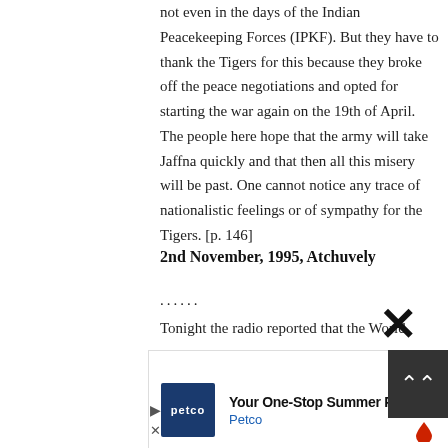not even in the days of the Indian Peacekeeping Forces (IPKF). But they have to thank the Tigers for this because they broke off the peace negotiations and opted for starting the war again on the 19th of April. The people here hope that the army will take Jaffna quickly and that then all this misery will be past. One cannot notice any trace of nationalistic feelings or of sympathy for the Tigers. [p. 146]
2nd November, 1995, Atchuvely
......
Tonight the radio reported that the World
[Figure (other): Advertisement overlay: Petco 'Your One-Stop Summer Pet Shop' banner ad with blue Petco logo, navigation arrow icon, and a dark scroll-up button with double chevron arrows]